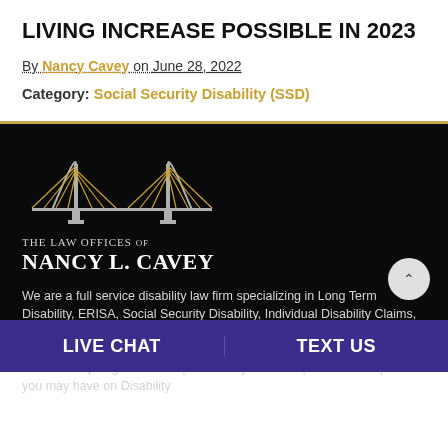LIVING INCREASE POSSIBLE IN 2023
By Nancy Cavey on June 28, 2022
Category: Social Security Disability (SSD)
[Figure (logo): The Law Offices of Nancy L. Cavey logo with bridge illustration on dark background]
We are a full service disability law firm specializing in Long Term Disability, ERISA, Social Security Disability, Individual Disability Claims, and Workers' Compensation Claims. We want to help you get the disability benefits you deserve for your claim. We offer a free consultation and free helpful guides to help educate you on the process with questions you may have on Disability
LIVE CHAT | TEXT US